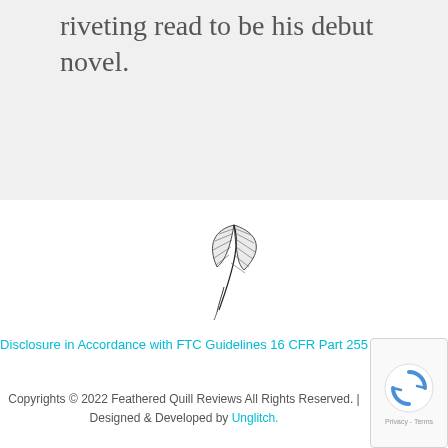riveting read to be his debut novel.
[Figure (illustration): A feather quill pen illustration, drawn in black ink, used as a logo for Feathered Quill Reviews]
Disclosure in Accordance with FTC Guidelines 16 CFR Part 255
Copyrights © 2022 Feathered Quill Reviews All Rights Reserved. | Designed & Developed by Unglitch.